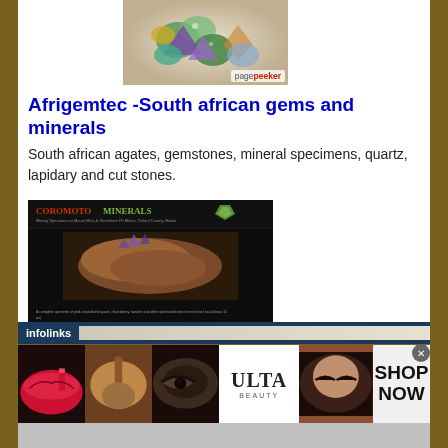[Figure (screenshot): Screenshot of Afrigemtec website showing colorful gemstones with pagepeeker watermark]
Afrigemtec -South african gems and minerals
South african agates, gemstones, mineral specimens, quartz, lapidary and cut stones.
[Figure (screenshot): Screenshot of Coromoto Minerals website with dark background showing minerals and mining content, pagepeeker watermark]
Coromoto Minerals In Maine
A site devoted to sharing the minerals and mining
[Figure (photo): Advertisement banner showing makeup/beauty products with Ulta Beauty logo and SHOP NOW button]